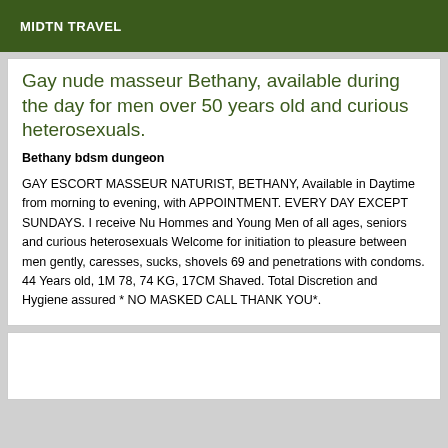MIDTN TRAVEL
Gay nude masseur Bethany, available during the day for men over 50 years old and curious heterosexuals.
Bethany bdsm dungeon
GAY ESCORT MASSEUR NATURIST, BETHANY, Available in Daytime from morning to evening, with APPOINTMENT. EVERY DAY EXCEPT SUNDAYS. I receive Nu Hommes and Young Men of all ages, seniors and curious heterosexuals Welcome for initiation to pleasure between men gently, caresses, sucks, shovels 69 and penetrations with condoms. 44 Years old, 1M 78, 74 KG, 17CM Shaved. Total Discretion and Hygiene assured * NO MASKED CALL THANK YOU*.